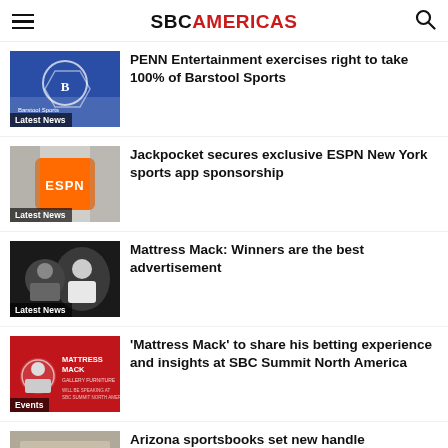SBC AMERICAS
PENN Entertainment exercises right to take 100% of Barstool Sports
Latest News
Jackpocket secures exclusive ESPN New York sports app sponsorship
Latest News
Mattress Mack: Winners are the best advertisement
Latest News
'Mattress Mack' to share his betting experience and insights at SBC Summit North America
Events
Arizona sportsbooks set new handle